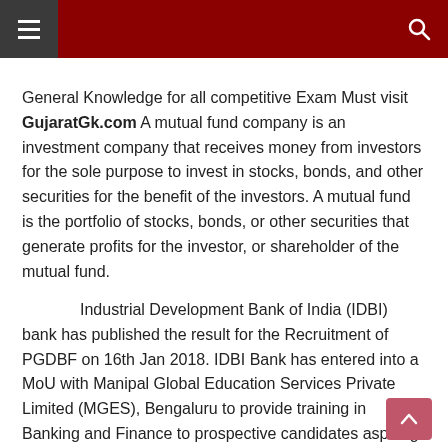GujaratGk.com — navigation header with hamburger menu and search icon
General Knowledge for all competitive Exam Must visit GujaratGk.com A mutual fund company is an investment company that receives money from investors for the sole purpose to invest in stocks, bonds, and other securities for the benefit of the investors. A mutual fund is the portfolio of stocks, bonds, or other securities that generate profits for the investor, or shareholder of the mutual fund.
Industrial Development Bank of India (IDBI) bank has published the result for the Recruitment of PGDBF on 16th Jan 2018. IDBI Bank has entered into a MoU with Manipal Global Education Services Private Limited (MGES), Bengaluru to provide training in Banking and Finance to prospective candidates aspiring to join IDBI Bank as